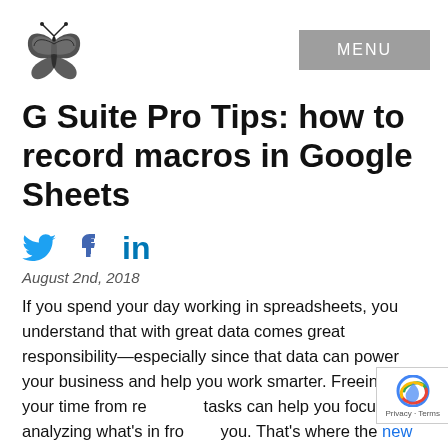[Figure (logo): Black and white butterfly illustration logo in top left]
[Figure (other): Gray MENU button in top right]
G Suite Pro Tips: how to record macros in Google Sheets
[Figure (other): Social share icons: Twitter bird, Facebook thumbs up, LinkedIn 'in']
August 2nd, 2018
If you spend your day working in spreadsheets, you understand that with great data comes great responsibility—especially since that data can power your business and help you work smarter. Freeing up your time from repetitive tasks can help you focus on analyzing what's in front of you. That's where the new Macro Recorder in Google